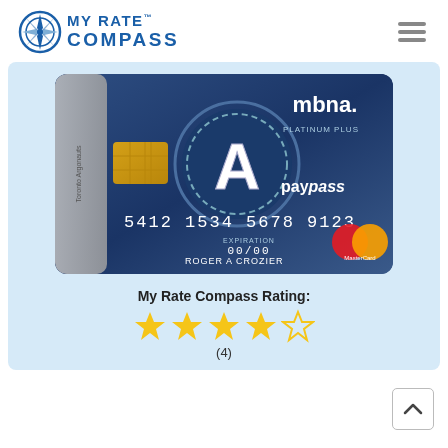[Figure (logo): My Rate Compass logo with compass rose icon and text 'MY RATE™ COMPASS' in blue]
[Figure (photo): MBNA Toronto Argonauts Platinum Plus MasterCard with PayPass, card number 5412 1534 5678 9123, expiry 00/00, cardholder ROGER A CROZIER]
My Rate Compass Rating:
[Figure (other): 4 out of 5 stars rating shown as gold star icons]
(4)